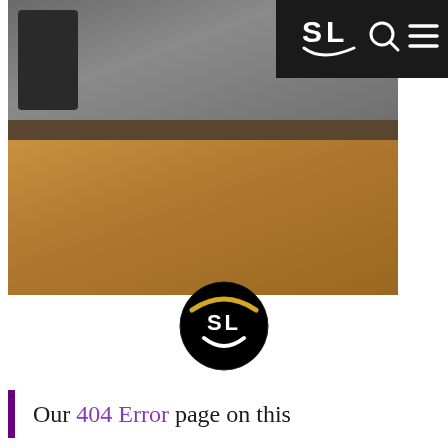[Figure (screenshot): Website navigation bar with 'SL' logo (letters with smile arc beneath), search icon, and hamburger menu on dark background, positioned top-right.]
[Figure (photo): Photo of a coffee cup on a saucer on a wooden table, with a laptop open showing a 404 error page reading 'What the Cluck?! Wrong page ya beef lover!' with a chicken image on the screen.]
[Figure (logo): SL logo circle: black circle with gold arc at top, white 'SL' text in center with a smile arc below the letters.]
Our 404 Error page on this